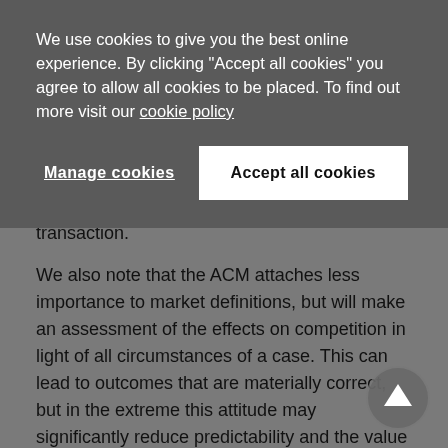We use cookies to give you the best online experience. By clicking "Accept all cookies" you agree to allow all cookies to be placed. To find out more visit our cookie policy
Manage cookies
Accept all cookies
transaction.
We also note that the ACM attaches less importance to market definitions, but will make an assessment of the effects on competition in light of all circumstances of a case. This can lead to outcomes that are materially correct, but in the extreme this attitude may significantly reduce predictability and the value of precedents.